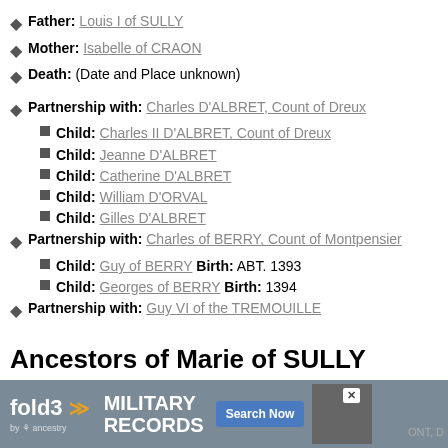Father: Louis I of SULLY
Mother: Isabelle of CRAON
Death: (Date and Place unknown)
Partnership with: Charles D'ALBRET, Count of Dreux
Child: Charles II D'ALBRET, Count of Dreux
Child: Jeanne D'ALBRET
Child: Catherine D'ALBRET
Child: William D'ORVAL
Child: Gilles D'ALBRET
Partnership with: Charles of BERRY, Count of Montpensier
Child: Guy of BERRY Birth: ABT. 1393
Child: Georges of BERRY Birth: 1394
Partnership with: Guy VI of the TREMOUILLE
Ancestors of Marie of SULLY
[Figure (infographic): Fold3 by Ancestry advertisement banner for Military Records with Search Now button and soldier photo]